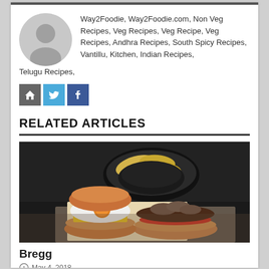Way2Foodie, Way2Foodie.com, Non Veg Recipes, Veg Recipes, Veg Recipe, Veg Recipes, Andhra Recipes, South Spicy Recipes, Vantillu, Kitchen, Indian Recipes, Telugu Recipes,
[Figure (illustration): Three social media icon buttons: home (grey), Twitter (blue), Facebook (dark blue)]
RELATED ARTICLES
[Figure (photo): A burger with fried egg on one bun half and mushrooms on the other, with a bowl of chips in the background on a dark surface]
Bregg
May 4, 2018